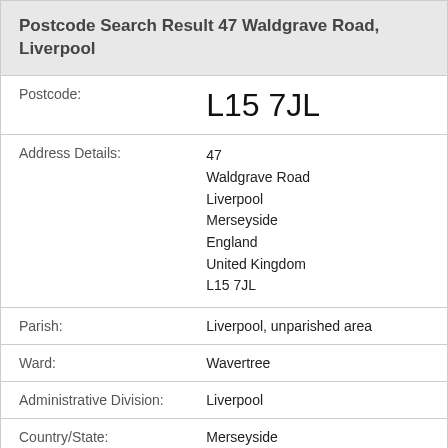Postcode Search Result 47 Waldgrave Road, Liverpool
| Field | Value |
| --- | --- |
| Postcode: | L15 7JL |
| Address Details: | 47
Waldgrave Road
Liverpool
Merseyside
England
United Kingdom
L15 7JL |
| Parish: | Liverpool, unparished area |
| Ward: | Wavertree |
| Administrative Division: | Liverpool |
| Country/State: | Merseyside |